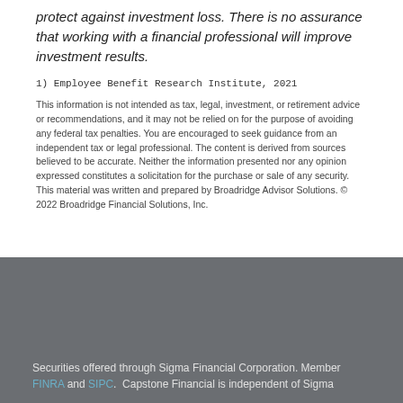protect against investment loss. There is no assurance that working with a financial professional will improve investment results.
1) Employee Benefit Research Institute, 2021
This information is not intended as tax, legal, investment, or retirement advice or recommendations, and it may not be relied on for the purpose of avoiding any federal tax penalties. You are encouraged to seek guidance from an independent tax or legal professional. The content is derived from sources believed to be accurate. Neither the information presented nor any opinion expressed constitutes a solicitation for the purchase or sale of any security. This material was written and prepared by Broadridge Advisor Solutions. © 2022 Broadridge Financial Solutions, Inc.
Securities offered through Sigma Financial Corporation. Member FINRA and SIPC. Capstone Financial is independent of Sigma